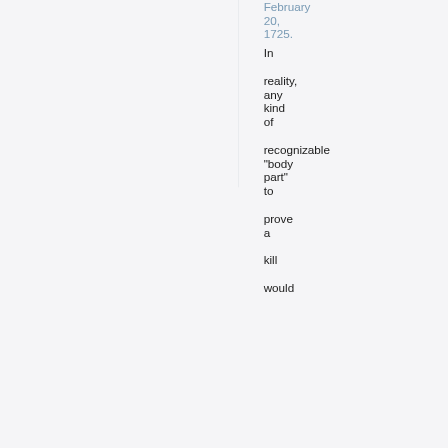February 20, 1725. In reality, any kind of recognizable "body part" to prove a kill would